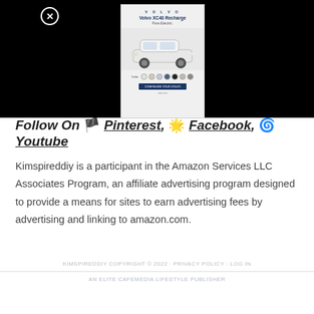[Figure (screenshot): Volvo XC40 Recharge Pure Electric advertisement banner with car image and color swatches, shown over a black overlay with a close button (X)]
Follow On 🏴 Pinterest, 🌟 Facebook, 🌀 Youtube
Kimspireddiy is a participant in the Amazon Services LLC Associates Program, an affiliate advertising program designed to provide a means for sites to earn advertising fees by advertising and linking to amazon.com.
KIMSPIREDDIY COPYRIGHT © 2022 · PRIVACY POLICY · LOG IN
AN ELITE CAFEMEDIA LIFESTYLE PUBLISHER